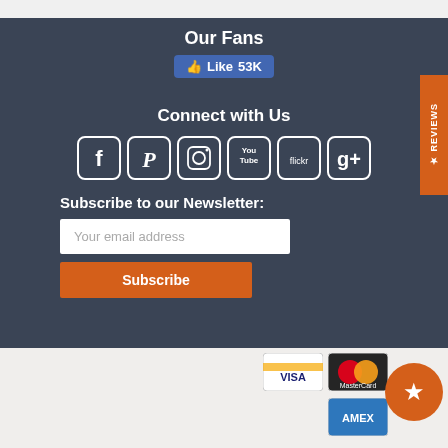Our Fans
Like 53K
Connect with Us
[Figure (illustration): Social media icons: Facebook, Pinterest, Instagram, YouTube, Flickr, Google+]
Subscribe to our Newsletter:
Your email address
Subscribe
[Figure (illustration): REVIEWS vertical tab on right side with star icon]
[Figure (illustration): Payment card logos: VISA, MasterCard, AMEX and orange star badge]
Copyright © 2022 Mozaico® Art | All rights reserved | Disclaimer.